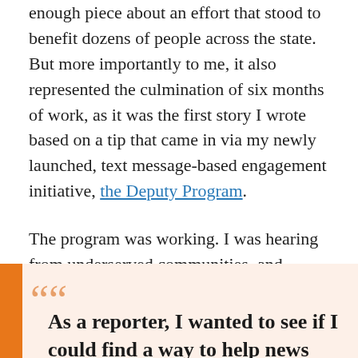enough piece about an effort that stood to benefit dozens of people across the state. But more importantly to me, it also represented the culmination of six months of work, as it was the first story I wrote based on a tip that came in via my newly launched, text message-based engagement initiative, the Deputy Program.
The program was working. I was hearing from underserved communities, and getting it operational had required minimal investment of time, resources or money.
““ As a reporter, I wanted to see if I could find a way to help news organizations cheaply and